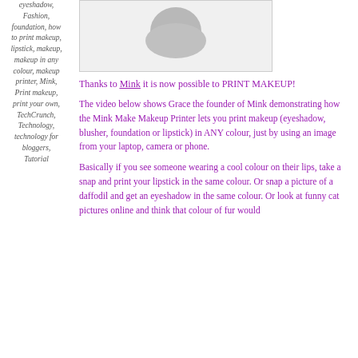[Figure (photo): Partial image of what appears to be a Mink makeup printer product, showing a grey rounded shape against a white/light grey background, inside a bordered box.]
Fashion, foundation, how to print makeup, lipstick, makeup, makeup in any colour, makeup printer, Mink, Print makeup, print your own, TechCrunch, Technology, technology for bloggers, Tutorial
Thanks to Mink it is now possible to PRINT MAKEUP!
The video below shows Grace the founder of Mink demonstrating how the Mink Make Makeup Printer lets you print makeup (eyeshadow, blusher, foundation or lipstick) in ANY colour, just by using an image from your laptop, camera or phone.
Basically if you see someone wearing a cool colour on their lips, take a snap and print your lipstick in the same colour. Or snap a picture of a daffodil and get an eyeshadow in the same colour. Or look at funny cat pictures online and think that colour of fur would